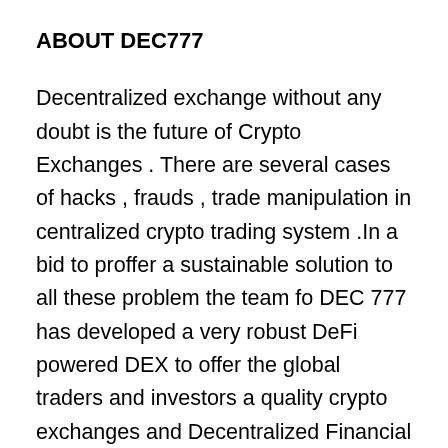ABOUT DEC777
Decentralized exchange without any doubt is the future of Crypto Exchanges . There are several cases of hacks , frauds , trade manipulation in centralized crypto trading system .In a bid to proffer a sustainable solution to all these problem the team fo DEC 777 has developed a very robust DeFi powered DEX to offer the global traders and investors a quality crypto exchanges and Decentralized Financial services. DEC777 platform is a revolutionary decentralized exchanges